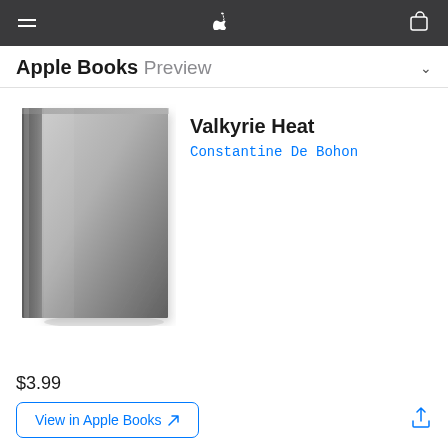Apple Books Preview
Valkyrie Heat
Constantine De Bohon
[Figure (illustration): Gray book cover with no text, showing a hardcover book with spine detail and gradient shading from light gray to dark gray]
$3.99
View in Apple Books ↗